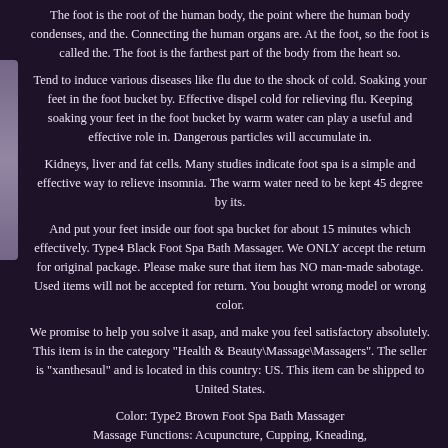The foot is the root of the human body, the point where the human body condenses, and the. Connecting the human organs are. At the foot, so the foot is called the. The foot is the farthest part of the body from the heart so.
Tend to induce various diseases like flu due to the shock of cold. Soaking your feet in the foot bucket by. Effective dispel cold for relieving flu. Keeping soaking your feet in the foot bucket by warm water can play a useful and effective role in. Dangerous particles will accumulate in.
Kidneys, liver and fat cells. Many studies indicate foot spa is a simple and effective way to relieve insomnia. The warm water need to be kept 45 degree by its.
And put your feet inside our foot spa bucket for about 15 minutes which effectively. Type4 Black Foot Spa Bath Massager. We ONLY accept the return for original package. Please make sure that item has NO man-made sabotage. Used items will not be accepted for return. You bought wrong model or wrong color.
We promise to help you solve it asap, and make you feel satisfactory absolutely. This item is in the category "Health & Beauty\Massage\Massagers". The seller is "xanthesaul" and is located in this country: US. This item can be shipped to United States.
Color: Type2 Brown Foot Spa Bath Massager
Massage Functions: Acupuncture, Cupping, Kneading,